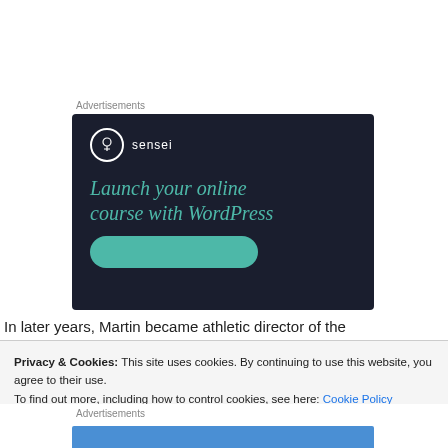Advertisements
[Figure (illustration): Sensei advertisement banner with dark navy background. Shows Sensei logo (tree icon in circle) and text 'Launch your online course with WordPress' in teal serif italic font, with a teal rounded button at the bottom.]
In later years, Martin became athletic director of the
Privacy & Cookies: This site uses cookies. By continuing to use this website, you agree to their use.
To find out more, including how to control cookies, see here: Cookie Policy
Close and accept
Advertisements